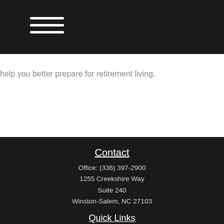[Figure (other): Hamburger menu icon with three horizontal white lines on dark background]
help you better prepare for retirement living.
Contact
Office: (336) 397-2900
1255 Creekshire Way
Suite 240
Winston-Salem, NC 27103
mickey@winstonwealth.com
[Figure (other): Social media icons: Facebook, Twitter, LinkedIn]
Quick Links
Retirement
Investment
Estate